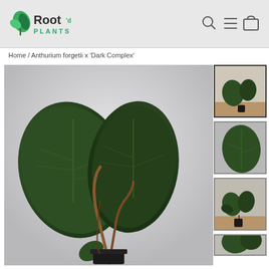[Figure (logo): Root'd Plants logo with green leaf icon, dark text 'Root'd' and teal 'PLANTS' subtitle]
[Figure (screenshot): Navigation icons: search magnifying glass, hamburger menu, shopping bag]
Home / Anthurium forgetii x 'Dark Complex'
[Figure (photo): Large photo of Anthurium forgetii x 'Dark Complex' plant with large dark green velvety leaves with silvery veins, in a small black pot on a light grey background]
[Figure (photo): Thumbnail 1: Same plant from a slightly different angle showing both leaves prominently, beige/wood surface]
[Figure (photo): Thumbnail 2: Close-up of a single dark green leaf with visible veins]
[Figure (photo): Thumbnail 3: Wider shot of the Anthurium plant in its black pot on wooden surface]
[Figure (photo): Thumbnail 4: Partially visible fourth thumbnail at bottom]